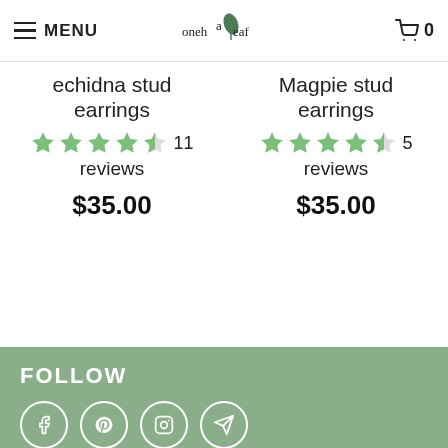MENU | onehappyleaf logo | cart 0
echidna stud earrings
4.5 stars, 11 reviews
$35.00
Magpie stud earrings
4.5 stars, 5 reviews
$35.00
FOLLOW
[Figure (infographic): Four social media icons in white circles on green background: Facebook, Pinterest, Instagram, Telegram]
Sign up to get the latest on sales, new releases and more ...